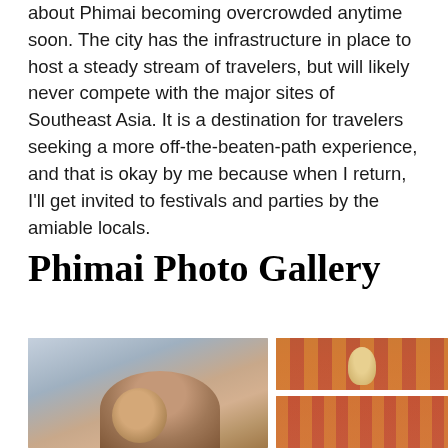about Phimai becoming overcrowded anytime soon. The city has the infrastructure in place to host a steady stream of travelers, but will likely never compete with the major sites of Southeast Asia. It is a destination for travelers seeking a more off-the-beaten-path experience, and that is okay by me because when I return, I'll get invited to festivals and parties by the amiable locals.
Phimai Photo Gallery
[Figure (photo): A smiling Thai woman in traditional dress with flower in her hair, at an outdoor event]
[Figure (photo): Rows of Thai dancers in gold traditional costumes kneeling on a red carpet]
[Figure (photo): More Thai dancers in gold traditional costumes at a festival]